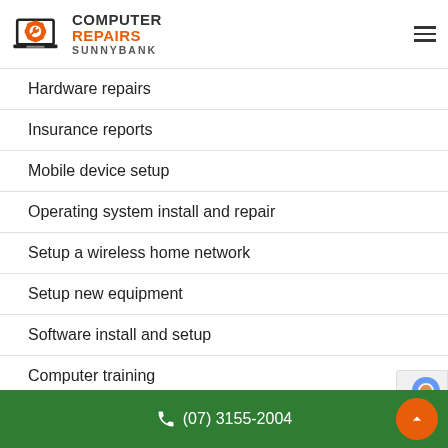[Figure (logo): Computer Repairs Sunnybank logo with gear/wrench icon inside laptop outline, orange and dark grey text]
Hardware repairs
Insurance reports
Mobile device setup
Operating system install and repair
Setup a wireless home network
Setup new equipment
Software install and setup
Computer training
Virus and spyware removal
☎ (07) 3155-2004